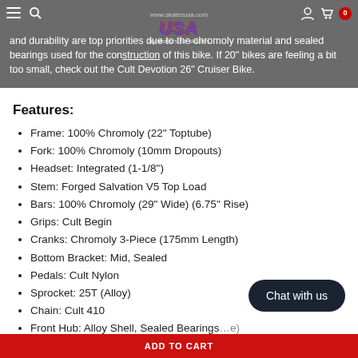and durability are top priorities due to the chromoly material and sealed bearings used for the construction of this bike. If 20" bikes are feeling a bit too small, check out the Cult Devotion 26" Cruiser Bike.
Features:
Frame: 100% Chromoly (22" Toptube)
Fork: 100% Chromoly (10mm Dropouts)
Headset: Integrated (1-1/8")
Stem: Forged Salvation V5 Top Load
Bars: 100% Chromoly (29" Wide) (6.75" Rise)
Grips: Cult Begin
Cranks: Chromoly 3-Piece (175mm Length)
Bottom Bracket: Mid, Sealed
Pedals: Cult Nylon
Sprocket: 25T (Alloy)
Chain: Cult 410
Front Hub: Alloy Shell, Sealed Bearings
Rear Hub: Sealed Bearings (freecoaster)
ADD TO CART